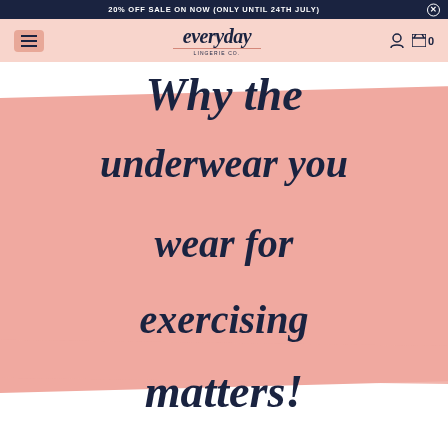20% OFF SALE ON NOW (ONLY UNTIL 24TH JULY)
[Figure (screenshot): Everyday Lingerie Co. website navigation header with hamburger menu, logo, user icon and cart showing 0 items]
Why the underwear you wear for exercising matters!